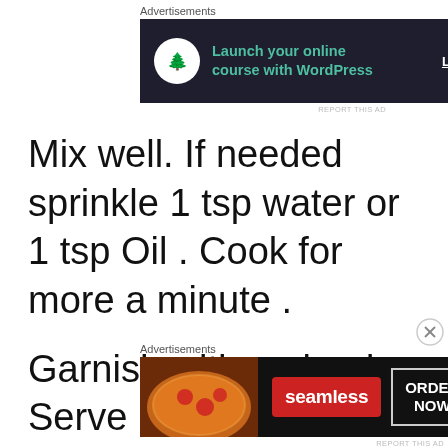[Figure (screenshot): Top advertisement banner: dark navy background with white circle icon (bonsai tree), teal text 'Launch your online course with WordPress', white 'Learn More' link]
Mix well. If needed sprinkle 1 tsp water or 1 tsp Oil . Cook for more a minute .
Garnish with coriander. Serve hot
[Figure (screenshot): Bottom advertisement banner: Seamless food delivery ad with pizza image, red Seamless badge, and ORDER NOW button]